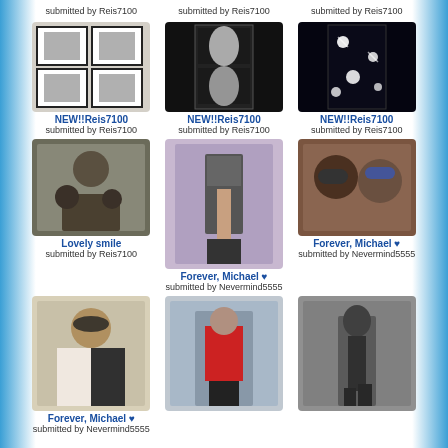submitted by Reis7100
submitted by Reis7100
submitted by Reis7100
[Figure (photo): Black and white contact sheet style photos of Michael Jackson]
NEW!!Reis7100
submitted by Reis7100
[Figure (photo): Black and white film strip photos of Michael Jackson performing]
NEW!!Reis7100
submitted by Reis7100
[Figure (photo): Dark concert photo with sparkles/lights]
NEW!!Reis7100
submitted by Reis7100
[Figure (photo): Michael Jackson with children, black and white photo, Lovely smile]
Lovely smile
submitted by Reis7100
[Figure (photo): Michael Jackson dancing in suit with red tie, colorful background]
Forever, Michael ♥
submitted by Nevermind5555
[Figure (photo): Michael Jackson with another person, both wearing hats]
Forever, Michael ♥
submitted by Nevermind5555
[Figure (photo): Michael Jackson in white outfit wearing hat, outdoor photo]
Forever, Michael ♥
submitted by Nevermind5555
[Figure (photo): Michael Jackson dancing in rain with red jacket]
[Figure (photo): Silhouette of Michael Jackson dancing on stage]